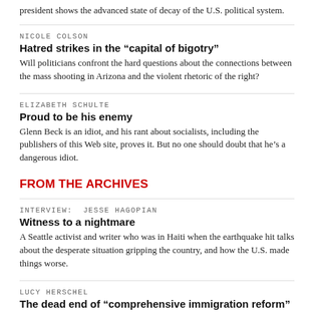president shows the advanced state of decay of the U.S. political system.
NICOLE COLSON
Hatred strikes in the “capital of bigotry”
Will politicians confront the hard questions about the connections between the mass shooting in Arizona and the violent rhetoric of the right?
ELIZABETH SCHULTE
Proud to be his enemy
Glenn Beck is an idiot, and his rant about socialists, including the publishers of this Web site, proves it. But no one should doubt that he’s a dangerous idiot.
FROM THE ARCHIVES
INTERVIEW: JESSE HAGOPIAN
Witness to a nightmare
A Seattle activist and writer who was in Haiti when the earthquake hit talks about the desperate situation gripping the country, and how the U.S. made things worse.
LUCY HERSCHEL
The dead end of “comprehensive immigration reform”
The Democrats’ promotion of a bipartisan compromise has been a disaster for